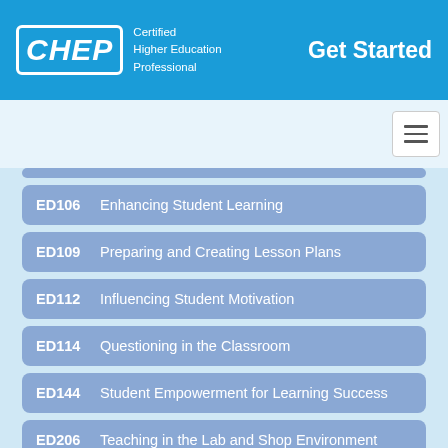CHEP Certified Higher Education Professional — Get Started
ED106   Enhancing Student Learning
ED109   Preparing and Creating Lesson Plans
ED112   Influencing Student Motivation
ED114   Questioning in the Classroom
ED144   Student Empowerment for Learning Success
ED206   Teaching in the Lab and Shop Environment
ED209   Students as Customers